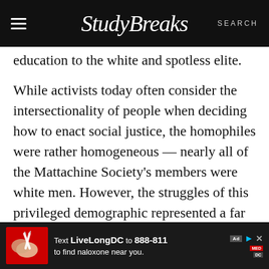Study Breaks — SEARCH
education to the white and spotless elite.
While activists today often consider the intersectionality of people when deciding how to enact social justice, the homophiles were rather homogeneous — nearly all of the Mattachine Society's members were white men. However, the struggles of this privileged demographic represented a far more diverse gay world. For all gay men in America, not only did they encounter systemic prejudice in federal employment, but their physical bodies were
[Figure (infographic): Advertisement banner: Text LiveLongDC to 888-811 to find naloxone near you. Shows image of hands with syringes on red background.]